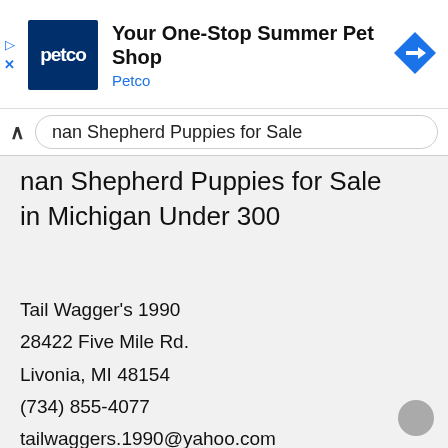[Figure (logo): Petco advertisement banner with Petco logo (dark blue square with 'petco' text), ad title 'Your One-Stop Summer Pet Shop', brand name 'Petco' in blue, and a blue navigation arrow diamond icon on the right. Ad controls (play and X) on the left.]
nan Shepherd Puppies for Sale in Michigan Under 300
Tail Wagger’s 1990
28422 Five Mile Rd.
Livonia, MI 48154
(734) 855-4077
tailwaggers.1990@yahoo.com